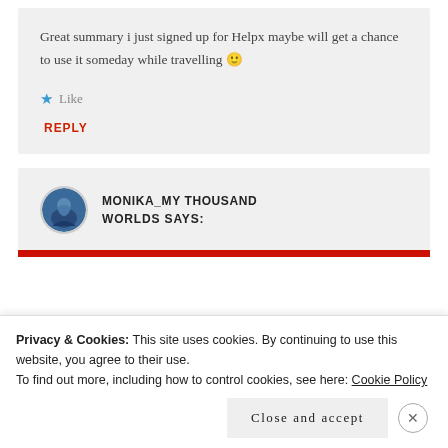Great summary i just signed up for Helpx maybe will get a chance to use it someday while travelling 🙂
★ Like
REPLY
[Figure (photo): Circular avatar photo of Monika_My Thousand Worlds, person in winter outdoor clothing]
MONIKA_MY THOUSAND WORLDS SAYS:
Privacy & Cookies: This site uses cookies. By continuing to use this website, you agree to their use.
To find out more, including how to control cookies, see here: Cookie Policy
Close and accept